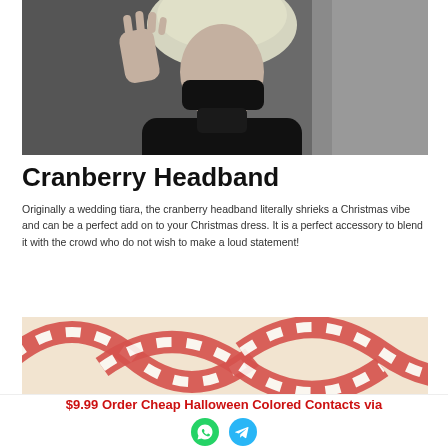[Figure (photo): A person with light/blonde hair wearing a black mask and black clothing, raising their hand, photographed against a rocky background]
Cranberry Headband
Originally a wedding tiara, the cranberry headband literally shrieks a Christmas vibe and can be a perfect add on to your Christmas dress. It is a perfect accessory to blend it with the crowd who do not wish to make a loud statement!
[Figure (photo): Close-up photo of red and white candy cane striped headbands on a light beige background]
$9.99 Order Cheap Halloween Colored Contacts via